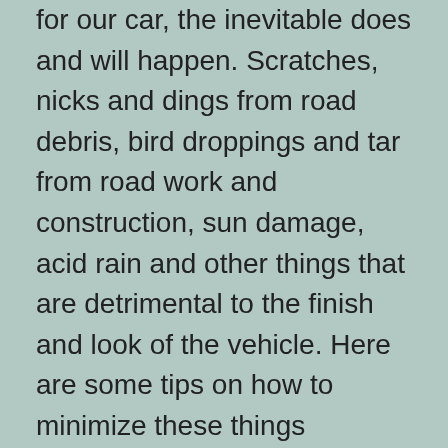for our car, the inevitable does and will happen. Scratches, nicks and dings from road debris, bird droppings and tar from road work and construction, sun damage, acid rain and other things that are detrimental to the finish and look of the vehicle. Here are some tips on how to minimize these things happening and to lessen or remove their damage to your cars finish.
Bird droppings and tar are equally difficult to remove from the paint and chrome. Bird droppings are actually acidic and will etch the paint or even chrome if left on too long,